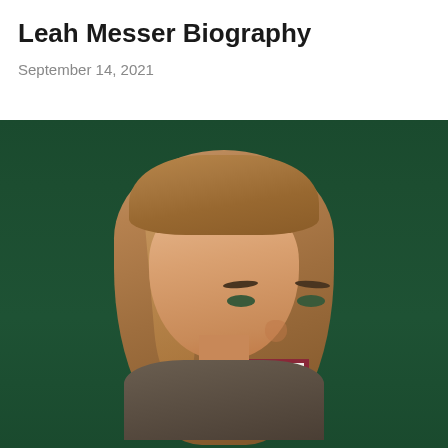Leah Messer Biography
September 14, 2021
[Figure (photo): Portrait photo of Leah Messer, a young woman with long light-brown hair with highlights, smiling, wearing a dark olive knit sweater. The background is a dark green surface/wall.]